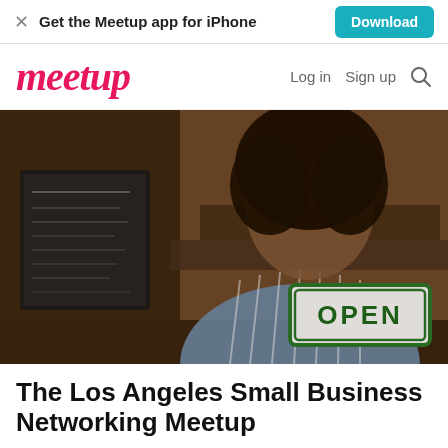Get the Meetup app for iPhone  Download
[Figure (logo): Meetup logo in red/pink cursive font with Log in, Sign up, and search icon navigation]
[Figure (photo): A smiling Black woman wearing a blue striped apron holding an OPEN sign in a cafe/restaurant setting]
The Los Angeles Small Business Networking Meetup